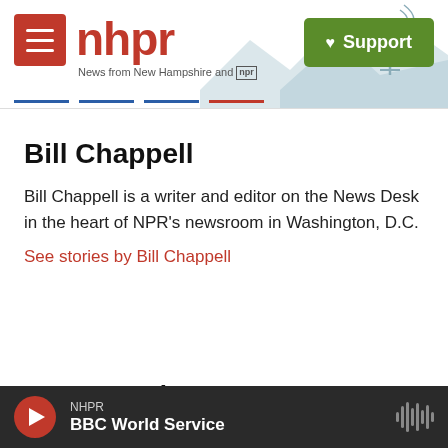[Figure (screenshot): NHPR website header with logo, hamburger menu, mountain skyline background, and green Support button]
Bill Chappell
Bill Chappell is a writer and editor on the News Desk in the heart of NPR's newsroom in Washington, D.C.
See stories by Bill Chappell
Latest Stories
[Figure (screenshot): Audio player bar showing NHPR BBC World Service with play button and waveform icon]